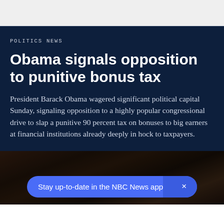POLITICS NEWS
Obama signals opposition to punitive bonus tax
President Barack Obama wagered significant political capital Sunday, signaling opposition to a highly popular congressional drive to slap a punitive 90 percent tax on bonuses to big earners at financial institutions already deeply in hock to taxpayers.
[Figure (photo): Photo of a person, partially visible at bottom of page]
Stay up-to-date in the NBC News app